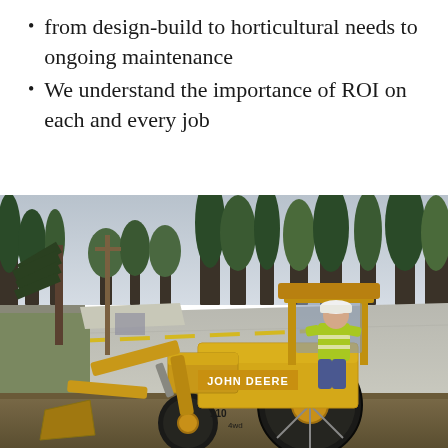from design-build to horticultural needs to ongoing maintenance
We understand the importance of ROI on each and every job
[Figure (photo): A worker in a yellow high-visibility jacket and white hard hat operating a John Deere 110 backhoe/front loader tractor on a newly paved road with trees in the background.]